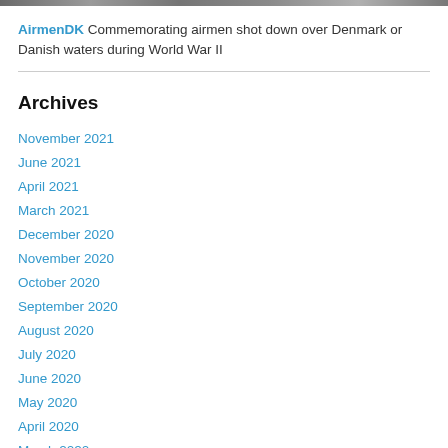[Figure (photo): Header image strip, dark/grey tone]
AirmenDK Commemorating airmen shot down over Denmark or Danish waters during World War II
Archives
November 2021
June 2021
April 2021
March 2021
December 2020
November 2020
October 2020
September 2020
August 2020
July 2020
June 2020
May 2020
April 2020
March 2020